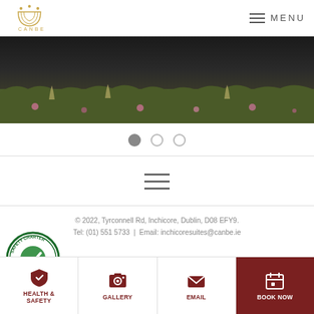CANBE | MENU
[Figure (photo): Hero image showing green grass and wildflowers, dark tone at top]
[Figure (other): Slider pagination dots: one filled, two empty]
[Figure (other): Hamburger menu icon (three horizontal lines)]
© 2022, Tyrconnell Rd, Inchicore, Dublin, D08 EFY9. Tel: (01) 551 5733 | Email: inchicoresuites@canbe.ie
[Figure (logo): COVID-19 Safety Charter badge with green checkmark]
[Figure (other): Social media icons: Facebook, Instagram, LinkedIn]
[Figure (other): Bottom navigation bar with Health & Safety, Gallery, Email, Book Now]